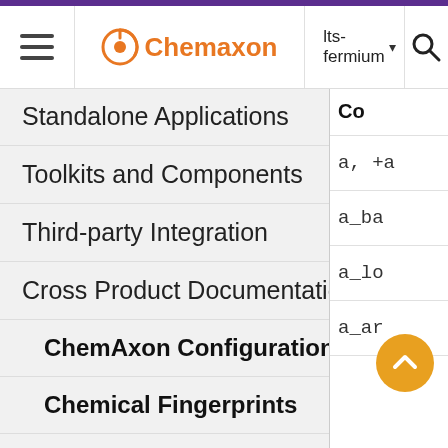≡  Chemaxon  |  lts-fermium ▾  |  🔍
Standalone Applications
Toolkits and Components
Third-party Integration
Cross Product Documentation
ChemAxon Configuration Folder
Chemical Fingerprints
Chemical Terms
File Formats
Basic export options